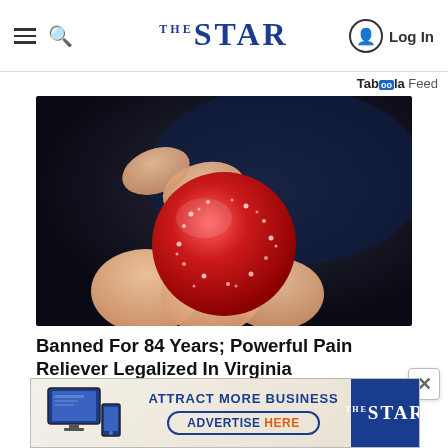The STAR — Log In
Taboola Feed
[Figure (photo): Close-up photo of a hand holding a round red sugary gummy candy against a dark background]
Banned For 84 Years; Powerful Pain Reliever Legalized In Virginia
[Figure (infographic): Advertisement banner: Attract More Business — Advertise Here — The Star logo]